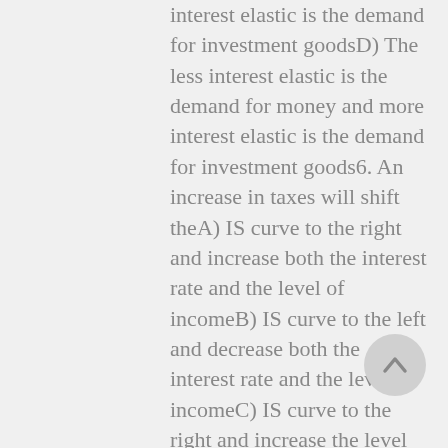interest elastic is the demand for investment goodsD) The less interest elastic is the demand for money and more interest elastic is the demand for investment goods6. An increase in taxes will shift theA) IS curve to the right and increase both the interest rate and the level of incomeB) IS curve to the left and decrease both the interest rate and the level of incomeC) IS curve to the right and increase the level of income but decrease the interest rateD) LM curve downward to the right and increase the level of income but decrease the interest rate7. When the rate of inflation is declining, there isA) Reflation B) DeflationC) Disinflation
[Figure (other): A circular scroll-to-top button with an upward arrow, grey colored, positioned at the right side of the page.]